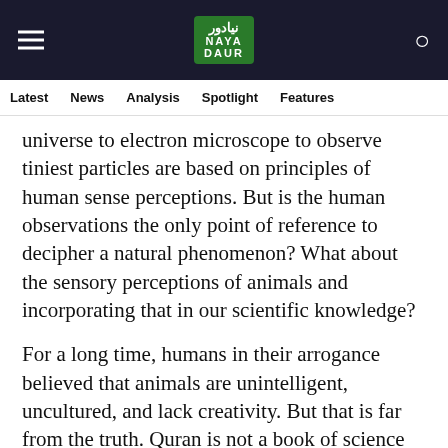[Figure (logo): Naya Daur logo with hamburger menu and search icon on dark navy background]
Latest   News   Analysis   Spotlight   Features
universe to electron microscope to observe tiniest particles are based on principles of human sense perceptions. But is the human observations the only point of reference to decipher a natural phenomenon? What about the sensory perceptions of animals and incorporating that in our scientific knowledge?
For a long time, humans in their arrogance believed that animals are unintelligent, uncultured, and lack creativity. But that is far from the truth. Quran is not a book of science